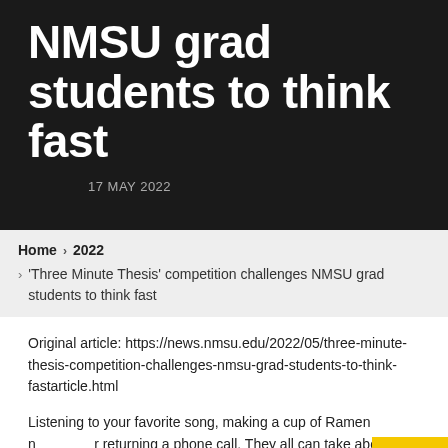NMSU grad students to think fast
17 MAY 2022
Home › 2022 › 'Three Minute Thesis' competition challenges NMSU grad students to think fast
Original article: https://news.nmsu.edu/2022/05/three-minute-thesis-competition-challenges-nmsu-grad-students-to-think-fastarticle.html
Listening to your favorite song, making a cup of Ramen noodles or returning a phone call. They all can take about three minutes. Now imagine explaining an 80,000-word thesis in that short ti...